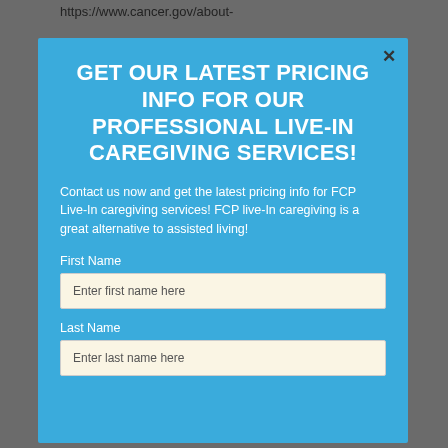https://www.cancer.gov/about-
GET OUR LATEST PRICING INFO FOR OUR PROFESSIONAL LIVE-IN CAREGIVING SERVICES!
Contact us now and get the latest pricing info for FCP Live-In caregiving services! FCP live-In caregiving is a great alternative to assisted living!
First Name
Enter first name here
Last Name
Enter last name here